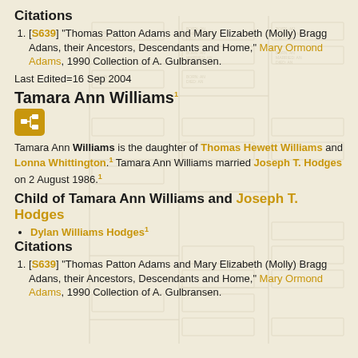Citations
1. [S639] "Thomas Patton Adams and Mary Elizabeth (Molly) Bragg Adans, their Ancestors, Descendants and Home," Mary Ormond Adams, 1990 Collection of A. Gulbransen.
Last Edited=16 Sep 2004
Tamara Ann Williams¹
[Figure (other): Genealogy tree icon button (orange/gold square with family tree symbol)]
Tamara Ann Williams is the daughter of Thomas Hewett Williams and Lonna Whittington.¹ Tamara Ann Williams married Joseph T. Hodges on 2 August 1986.¹
Child of Tamara Ann Williams and Joseph T. Hodges
Dylan Williams Hodges¹
Citations
1. [S639] "Thomas Patton Adams and Mary Elizabeth (Molly) Bragg Adans, their Ancestors, Descendants and Home," Mary Ormond Adams, 1990 Collection of A. Gulbransen.